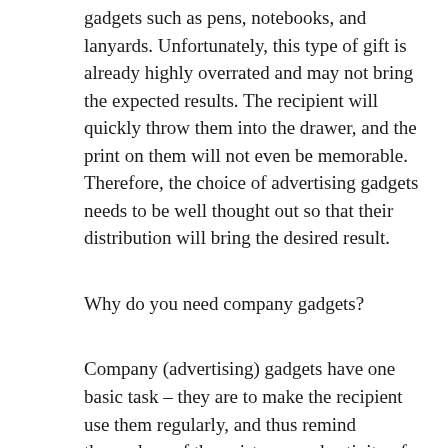gadgets such as pens, notebooks, and lanyards. Unfortunately, this type of gift is already highly overrated and may not bring the expected results. The recipient will quickly throw them into the drawer, and the print on them will not even be memorable. Therefore, the choice of advertising gadgets needs to be well thought out so that their distribution will bring the desired result.
Why do you need company gadgets?
Company (advertising) gadgets have one basic task – they are to make the recipient use them regularly, and thus remind themselves of the existence and activity of the company from which they received them. Therefore, before we choose advertising gadgets for companies, we need to think about what our customers may find useful and what they will throw away in the trash. The gift must be functional